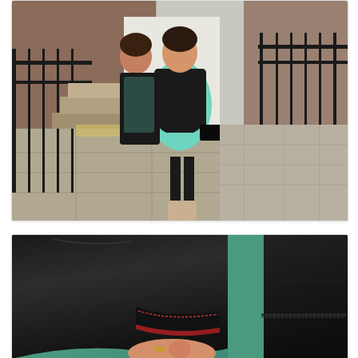[Figure (photo): Two women standing on a city street pavement near black iron railings and stone steps. One woman wears a mint/teal skater dress with a black leather jacket, black tights, and patterned heeled boots. The other is partially visible. Background shows brick buildings and a wide pavement.]
[Figure (photo): Close-up detail shot of a black leather jacket sleeve/cuff area, showing stitching detail. Behind the jacket is a teal/mint green fabric. A hand with rings is visible at the bottom of the frame.]